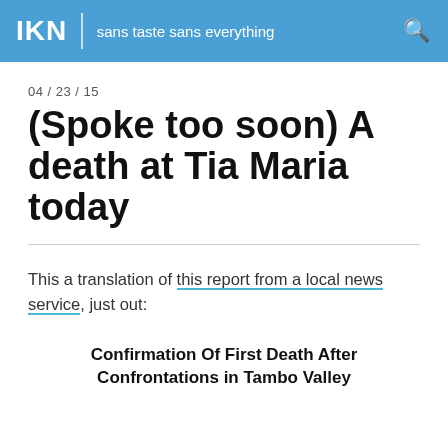IKN | sans taste sans everything
04 / 23 / 15
(Spoke too soon) A death at Tia Maria today
This a translation of this report from a local news service, just out:
Confirmation Of First Death After Confrontations in Tambo Valley